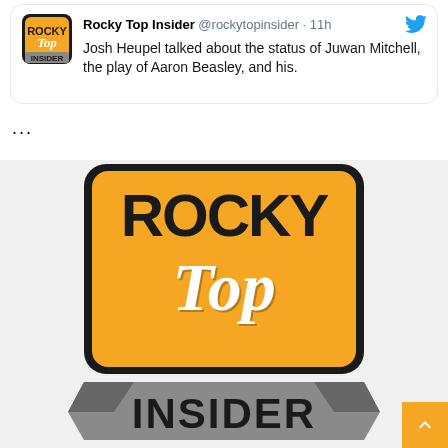[Figure (screenshot): Tweet card from Rocky Top Insider (@rockytopinsider) posted 11 minutes ago. Text: 'Josh Heupel talked about the status of Juwan Mitchell, the play of Aaron Beasley, and his...' Twitter bird icon visible top right of card.]
...
[Figure (logo): Rocky Top Insider logo: large orange rounded-square badge with 'ROCKY' in bold black uppercase, 'Top' in white italic script, and 'INSIDER' in bold black uppercase on a gray banner below.]